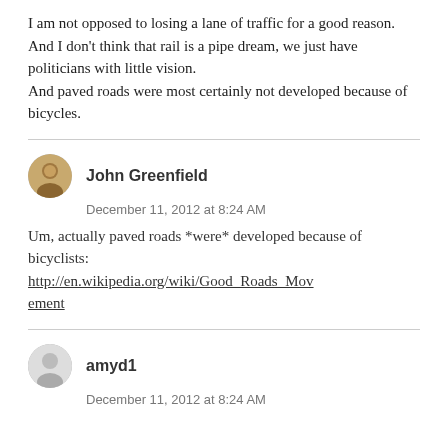I am not opposed to losing a lane of traffic for a good reason. And I don’t think that rail is a pipe dream, we just have politicians with little vision.
And paved roads were most certainly not developed because of bicycles.
John Greenfield
December 11, 2012 at 8:24 AM
Um, actually paved roads *were* developed because of bicyclists: http://en.wikipedia.org/wiki/Good_Roads_Movement
amyd1
December 11, 2012 at 8:24 AM